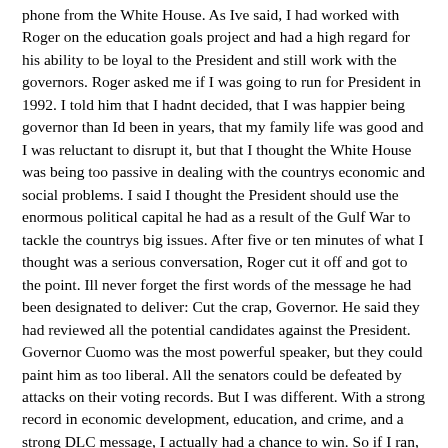phone from the White House. As Ive said, I had worked with Roger on the education goals project and had a high regard for his ability to be loyal to the President and still work with the governors. Roger asked me if I was going to run for President in 1992. I told him that I hadnt decided, that I was happier being governor than Id been in years, that my family life was good and I was reluctant to disrupt it, but that I thought the White House was being too passive in dealing with the countrys economic and social problems. I said I thought the President should use the enormous political capital he had as a result of the Gulf War to tackle the countrys big issues. After five or ten minutes of what I thought was a serious conversation, Roger cut it off and got to the point. Ill never forget the first words of the message he had been designated to deliver: Cut the crap, Governor. He said they had reviewed all the potential candidates against the President. Governor Cuomo was the most powerful speaker, but they could paint him as too liberal. All the senators could be defeated by attacks on their voting records. But I was different. With a strong record in economic development, education, and crime, and a strong DLC message, I actually had a chance to win. So if I ran, they would have to destroy me personally. Heres how Washington works, he said. The press has to have somebody in every election, and were going to give them you. He went on to say the press were elitists who would believe any tales they were told about backwater Arkansas. Well spend whatever we have to spend to get whoever we have to get to